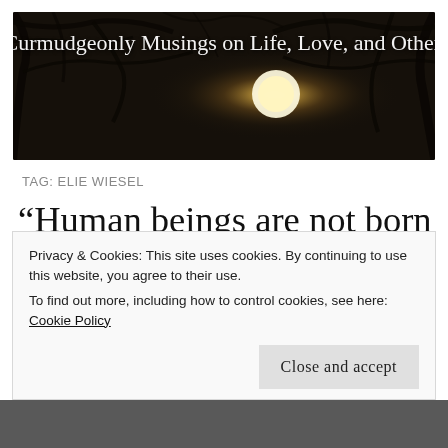[Figure (photo): Dark atmospheric header image with bare tree branches silhouetted against a glowing moon or bright light source, sepia/dark toned. Text overlay reads: Lolo's Curmudgeonly Musings on Life, Love, and Other Trifles]
TAG: ELIE WIESEL
“Human beings are not born once and for all on the day their mothers give birth to them, but . . . life obliges them
Privacy & Cookies: This site uses cookies. By continuing to use this website, you agree to their use.
To find out more, including how to control cookies, see here: Cookie Policy
Close and accept